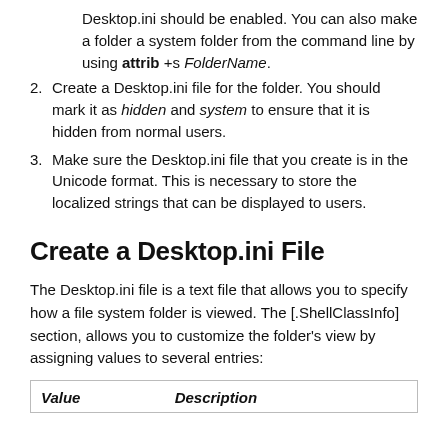Desktop.ini should be enabled. You can also make a folder a system folder from the command line by using attrib +s FolderName.
2. Create a Desktop.ini file for the folder. You should mark it as hidden and system to ensure that it is hidden from normal users.
3. Make sure the Desktop.ini file that you create is in the Unicode format. This is necessary to store the localized strings that can be displayed to users.
Create a Desktop.ini File
The Desktop.ini file is a text file that allows you to specify how a file system folder is viewed. The [.ShellClassInfo] section, allows you to customize the folder's view by assigning values to several entries:
| Value | Description |
| --- | --- |